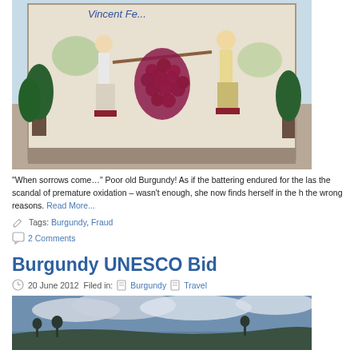[Figure (photo): A colorful mural painting showing two figures carrying a large bunch of red/purple grapes on a pole between them, with plants and decorative background. Text 'Vincet Fe...' visible at top.]
“When sorrows come…” Poor old Burgundy! As if the battering endured for the las the scandal of premature oxidation – wasn’t enough, she now finds herself in the h the wrong reasons. Read More...
Tags: Burgundy, Fraud
2 Comments
Burgundy UNESCO Bid
20 June 2012 Filed in: Burgundy Travel
[Figure (photo): A landscape photo showing a cloudy sky with hills or vineyards in the background, low visibility.]